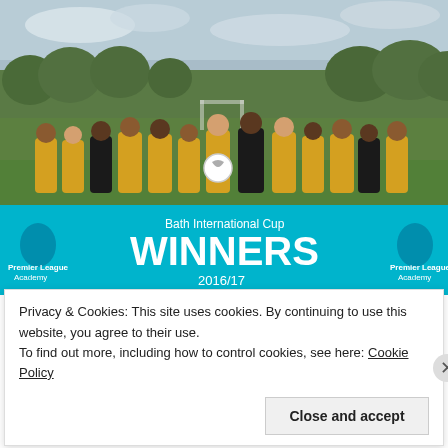[Figure (photo): Group photo of youth football team in yellow and black kits holding a trophy, standing behind a cyan Premier League Academy banner reading 'Bath International Cup WINNERS 2016/17']
Privacy & Cookies: This site uses cookies. By continuing to use this website, you agree to their use.
To find out more, including how to control cookies, see here: Cookie Policy
Close and accept